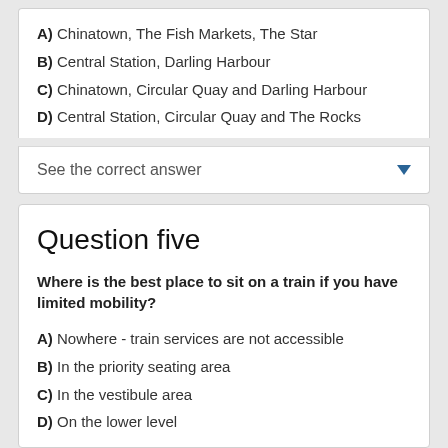A) Chinatown, The Fish Markets, The Star
B) Central Station, Darling Harbour
C) Chinatown, Circular Quay and Darling Harbour
D) Central Station, Circular Quay and The Rocks
See the correct answer
Question five
Where is the best place to sit on a train if you have limited mobility?
A) Nowhere - train services are not accessible
B) In the priority seating area
C) In the vestibule area
D) On the lower level